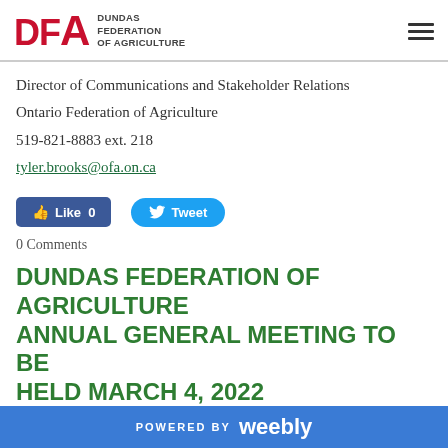[Figure (logo): DFA Dundas Federation of Agriculture logo with hamburger menu icon]
Director of Communications and Stakeholder Relations
Ontario Federation of Agriculture
519-821-8883 ext. 218
tyler.brooks@ofa.on.ca
[Figure (other): Facebook Like button showing 0 likes and Twitter Tweet button]
0 Comments
DUNDAS FEDERATION OF AGRICULTURE ANNUAL GENERAL MEETING TO BE HELD MARCH 4, 2022
POWERED BY weebly